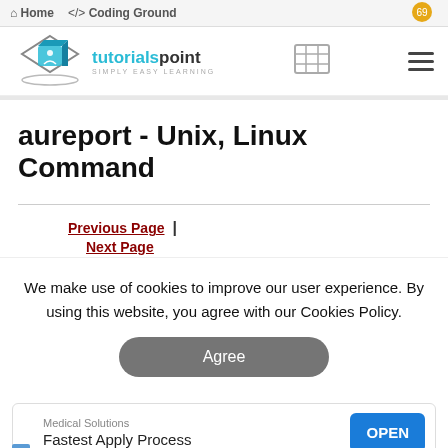Home   Coding Ground
[Figure (logo): tutorialspoint SIMPLY EASY LEARNING logo with diamond/cube icon]
aureport - Unix, Linux Command
Previous Page |
Next Page
We make use of cookies to improve our user experience. By using this website, you agree with our Cookies Policy.
Agree
[Figure (infographic): Advertisement banner: Medical Solutions - Fastest Apply Process - OPEN button]